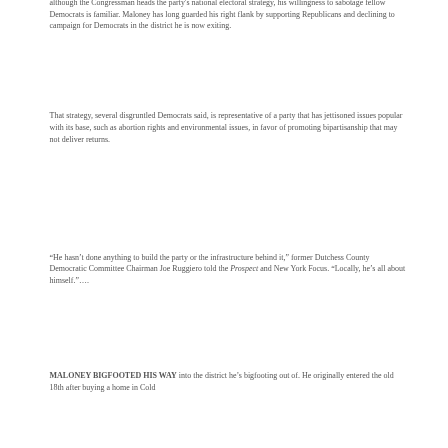although the Congressman heads the party's national electoral strategy, his willingness to sabotage fellow Democrats is familiar. Maloney has long guarded his right flank by supporting Republicans and declining to campaign for Democrats in the district he is now exiting.
That strategy, several disgruntled Democrats said, is representative of a party that has jettisoned issues popular with its base, such as abortion rights and environmental issues, in favor of promoting bipartisanship that may not deliver returns.
“He hasn’t done anything to build the party or the infrastructure behind it,” former Dutchess County Democratic Committee Chairman Joe Ruggiero told the Prospect and New York Focus. “Locally, he’s all about himself.”….
MALONEY BIGFOOTED HIS WAY into the district he’s bigfooting out of. He originally entered the old 18th after buying a home in Cold